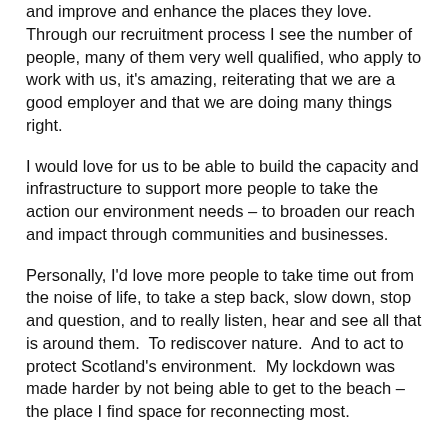and improve and enhance the places they love. Through our recruitment process I see the number of people, many of them very well qualified, who apply to work with us, it's amazing, reiterating that we are a good employer and that we are doing many things right.
I would love for us to be able to build the capacity and infrastructure to support more people to take the action our environment needs – to broaden our reach and impact through communities and businesses.
Personally, I'd love more people to take time out from the noise of life, to take a step back, slow down, stop and question, and to really listen, hear and see all that is around them.  To rediscover nature.  And to act to protect Scotland's environment.  My lockdown was made harder by not being able to get to the beach – the place I find space for reconnecting most.